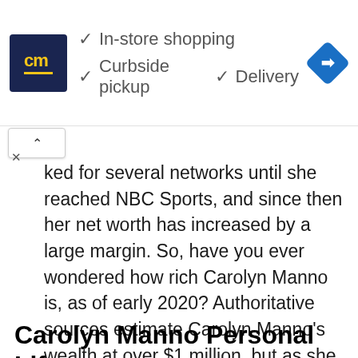[Figure (other): Advertisement banner for CM store showing logo with 'cm' text, checkmarks for In-store shopping, Curbside pickup, and Delivery, plus a blue navigation/directions icon]
ked for several networks until she reached NBC Sports, and since then her net worth has increased by a large margin. So, have you ever wondered how rich Carolyn Manno is, as of early 2020? Authoritative sources estimate Carolyn Manno's wealth at over $1 million, but as she steadily continues her career, undoubtedly this number will increase in the upcoming years.
Carolyn Manno Personal Life,